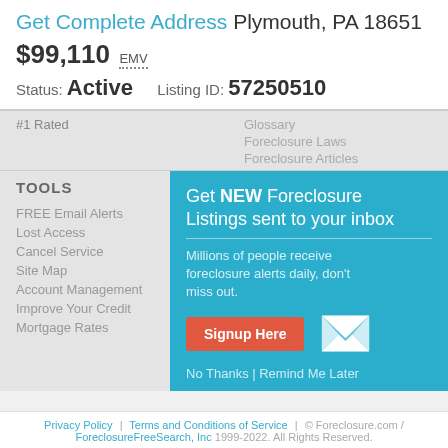Get Complete Address Plymouth, PA 18651
$99,110 EMV
Status: Active    Listing ID: 57250510
#1 Rated
Glossary
Foreclosure Laws
Foreclosure Articles
TOOLS
FREE Email Alerts
Lost Access
Cancel Service
Site Map
Account Management
Improve Your Credit
Mortgage Rates
Get NEW Foreclosure Listings sent to your inbox
Millions of people receive foreclosure alerts daily, don't miss out.
Signup Here
No Thanks | Remind Me Later
Privacy Policy | Terms and Conditions of Service | © Foreclosure.com / ForeclosureFreeSearch, Inc 1999-2022. All Rights Reserved.